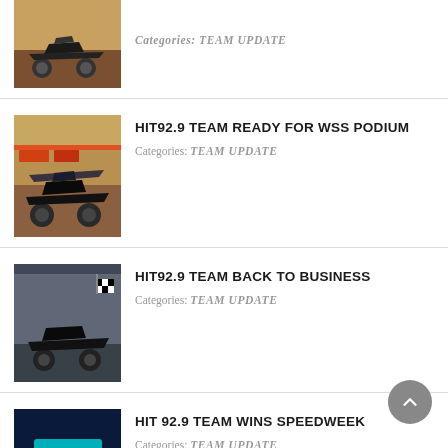[Figure (photo): Sprint car racing on dirt track (partial, top of page)]
Categories: TEAM UPDATE
[Figure (photo): Sprint car racing on dirt track with grandstand banners, HIT92.9 team]
HIT92.9 TEAM READY FOR WSS PODIUM
Categories: TEAM UPDATE
[Figure (photo): HIT92.9 sprint car parked near wall with checkered flag]
HIT92.9 TEAM BACK TO BUSINESS
Categories: TEAM UPDATE
[Figure (photo): HIT 92.9 sprint car at night event with HIT 92.9 branding visible]
HIT 92.9 TEAM WINS SPEEDWEEK
Categories: TEAM UPDATE